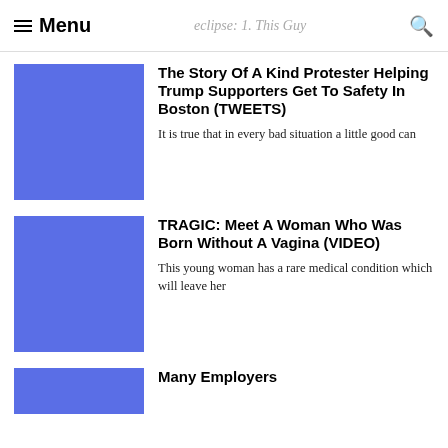Menu | eclipse: 1. This Guy
[Figure (photo): Blue placeholder image for article 1]
The Story Of A Kind Protester Helping Trump Supporters Get To Safety In Boston (TWEETS)
It is true that in every bad situation a little good can
[Figure (photo): Blue placeholder image for article 2]
TRAGIC: Meet A Woman Who Was Born Without A Vagina (VIDEO)
This young woman has a rare medical condition which will leave her
[Figure (photo): Blue placeholder image for article 3 (partially visible)]
Many Employers